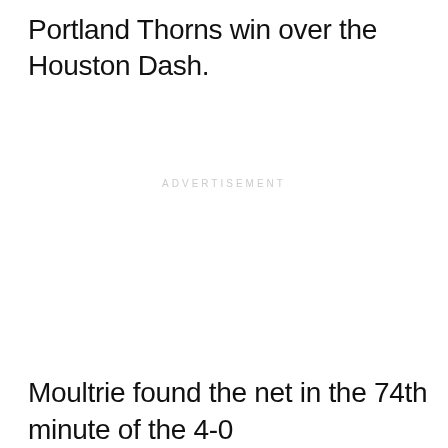Portland Thorns win over the Houston Dash.
ADVERTISEMENT
Moultrie found the net in the 74th minute of the 4-0